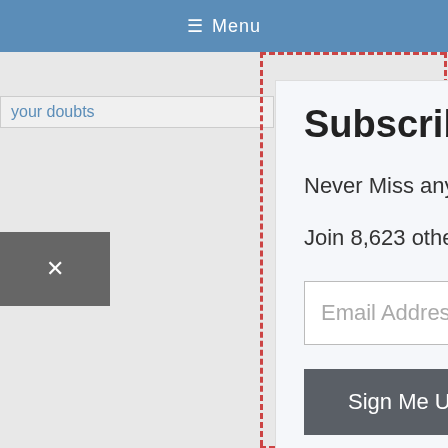☰ Menu
your doubts
Subscribe to BPSC Notes
Never Miss any BPSC important update!
Join 8,623 other subscribers
Email Address
Sign Me Up